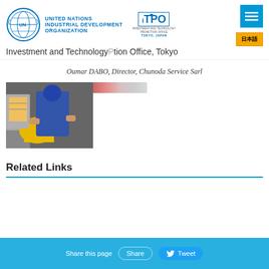UNITED NATIONS INDUSTRIAL DEVELOPMENT ORGANIZATION — Investment and Technology Promotion Office, Tokyo
Oumar DABO, Director, Chunoda Service Sarl
[Figure (photo): A person in a blue protective suit working with industrial equipment, with a yellow material visible. A blurred red and grey banner strip partially overlays the top right of the image.]
Related Links
Share this page  Share  Tweet